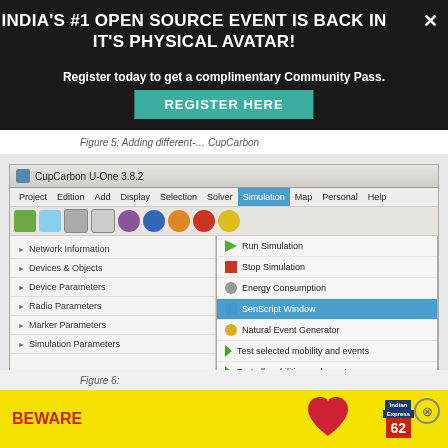INDIA'S #1 OPEN SOURCE EVENT IS BACK IN IT'S PHYSICAL AVATAR!
Register today to get a complimentary Community Pass.
REGISTER HERE
Figure 5: Adding different… CupCarbon
[Figure (screenshot): CupCarbon U-One 3.8.2 simulation software interface showing the Simulation menu open with options including Run Simulation, Stop Simulation, Energy Consumption, SenScript Window (highlighted), Natural Event Generator, Test selected mobility and events, Test all mobilities and events, Test sensor nodes mobilites, Test mobilies mobilites, Stop testing mobilites and events, Initialize All, Run Fault Injection]
Figure 6:
[Figure (screenshot): Advertisement banner with BEWARE text in red on yellow background, with a heart image and Indian Express logo]